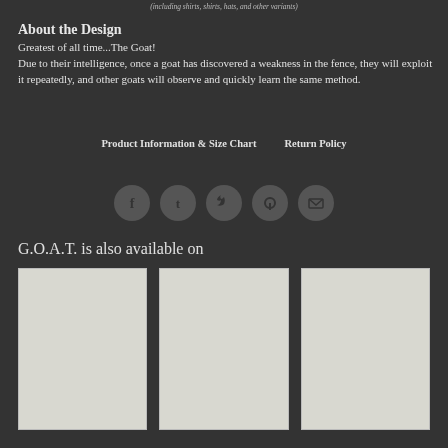(including shirts, shirts, hats, and other variants)
About the Design
Greatest of all time...The Goat!
Due to their intelligence, once a goat has discovered a weakness in the fence, they will exploit it repeatedly, and other goats will observe and quickly learn the same method.
Product Information & Size Chart    Return Policy
[Figure (infographic): Row of 5 social media icon buttons: Facebook, Tumblr, Twitter, Pinterest, Email]
G.O.A.T. is also available on
[Figure (photo): Three product image placeholder boxes shown side by side]